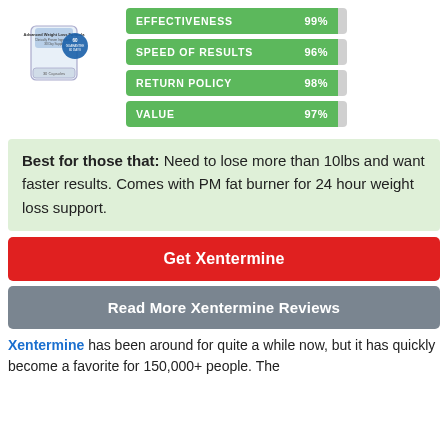[Figure (photo): Product image of Xentermine Advanced Weight Loss Formula container with a blue guarantee badge]
[Figure (bar-chart): Rating bars for Xentermine]
Best for those that: Need to lose more than 10lbs and want faster results. Comes with PM fat burner for 24 hour weight loss support.
Get Xentermine
Read More Xentermine Reviews
Xentermine has been around for quite a while now, but it has quickly become a favorite for 150,000+ people. The